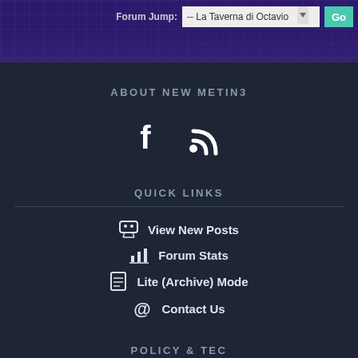Forum Jump: -- La Taverna di Octavio  Go
ABOUT NEW METIN3
[Figure (illustration): Social media icons: Facebook (f) and RSS feed icon]
QUICK LINKS
View New Posts
Forum Stats
Lite (Archive) Mode
Contact Us
POLICY & TEC